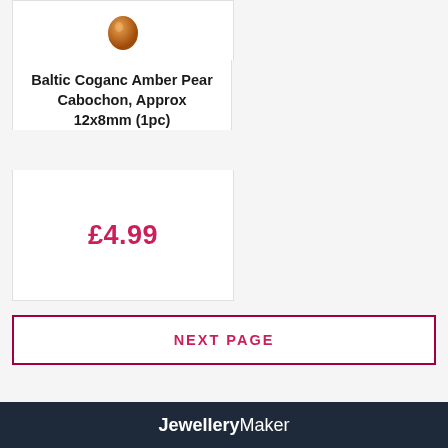[Figure (photo): Amber pear cabochon stone, orange-brown color, circular/pear shaped gemstone]
Baltic Coganc Amber Pear Cabochon, Approx 12x8mm (1pc)
£4.99
Next Page
JewelleryMaker